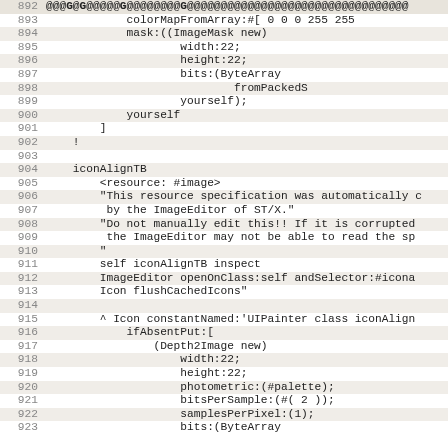Code listing lines 892-923, Smalltalk/source code for iconAlignTB resource definition with image data and image editor comments
892: @@@G@G@@@@@G@@@@@@@@G@@@@@@@@@@@@@@@@@@@@@@@@@@@@@@@@
893:     colorMapFromArray:#[ 0 0 0 255 255 ...
894:     mask:((ImageMask new)
895:             width:22;
896:             height:22;
897:             bits:(ByteArray
898:                     fromPackedS...
899:             yourself);
900:     yourself
901:     ]
902: !
903:
904: iconAlignTB
905:     <resource: #image>
906:     "This resource specification was automatically c...
907:      by the ImageEditor of ST/X."
908:     "Do not manually edit this!! If it is corrupted...
909:      the ImageEditor may not be able to read the sp...
910:     "
911:     self iconAlignTB inspect
912:     ImageEditor openOnClass:self andSelector:#icona...
913:     Icon flushCachedIcons"
914:
915:     ^ Icon constantNamed:'UIPainter class iconAlign...
916:         ifAbsentPut:[
917:             (Depth2Image new)
918:                 width:22;
919:                 height:22;
920:                 photometric:(#palette);
921:                 bitsPerSample:(#( 2 ));
922:                 samplesPerPixel:(1);
923:                 bits:(ByteArray